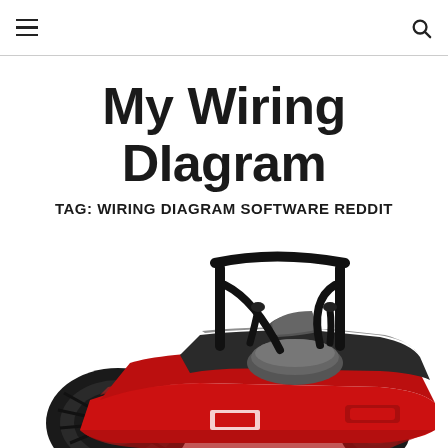My Wiring DIagram [navigation header with hamburger menu and search icon]
My Wiring DIagram
TAG: WIRING DIAGRAM SOFTWARE REDDIT
[Figure (photo): Photo of a red zero-turn riding lawn mower with black roll bar and ergonomic seat, viewed from a three-quarter front angle on a white background.]